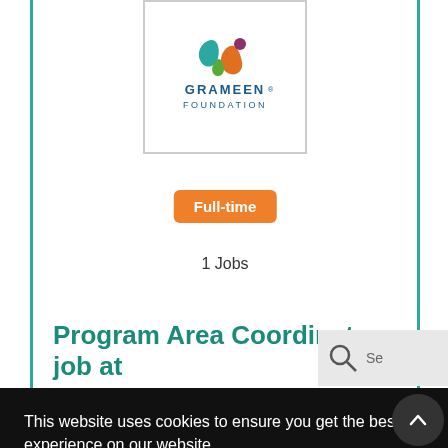[Figure (logo): Grameen Foundation logo with leaf/people icon in teal, orange, and purple, with text GRAMEEN FOUNDATION below]
Full-time
1 Jobs
Program Area Coordinator job at
This website uses cookies to ensure you get the best experience on our website.
More info
Got it!